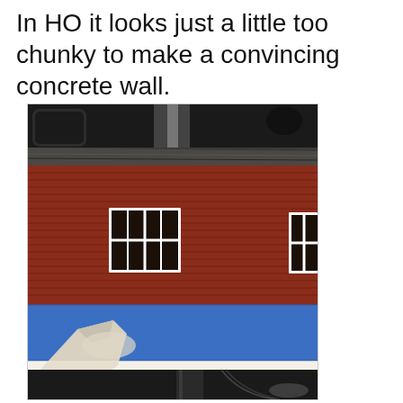In HO it looks just a little too chunky to make a convincing concrete wall.
[Figure (photo): A model railroad building scene showing a red barn-like structure with white-framed windows and a blue painter's tape strip along the lower wall. A white spatula or tool is being used to apply material to the bottom section. The background shows a dark workbench environment.]